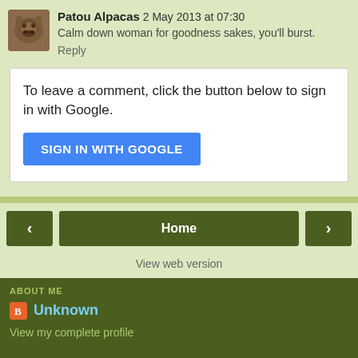Patou Alpacas 2 May 2013 at 07:30
Calm down woman for goodness sakes, you'll burst.
Reply
To leave a comment, click the button below to sign in with Google.
[Figure (other): SIGN IN WITH GOOGLE button]
[Figure (other): Navigation buttons: left arrow, Home, right arrow]
View web version
ABOUT ME
Unknown
View my complete profile
Powered by Blogger.